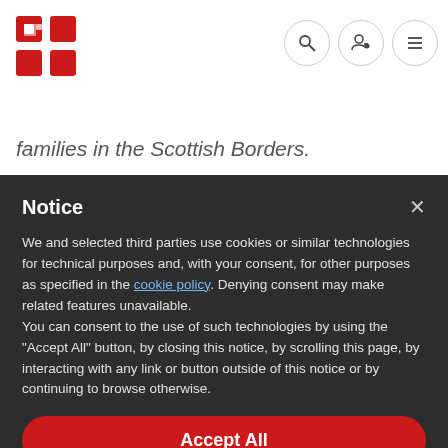[Figure (logo): Red and white four-square logo]
families in the Scottish Borders.
Notice
We and selected third parties use cookies or similar technologies for technical purposes and, with your consent, for other purposes as specified in the cookie policy. Denying consent may make related features unavailable.
You can consent to the use of such technologies by using the "Accept All" button, by closing this notice, by scrolling this page, by interacting with any link or button outside of this notice or by continuing to browse otherwise.
Accept All
Learn more and customize